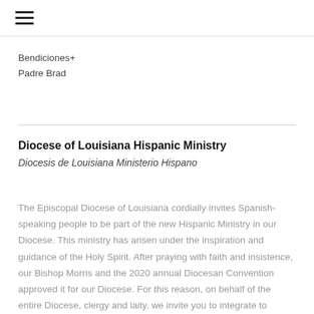≡
Bendiciones+
Padre Brad
Diocese of Louisiana Hispanic Ministry
Diocesis de Louisiana Ministerio Hispano
The Episcopal Diocese of Louisiana cordially invites Spanish-speaking people to be part of the new Hispanic Ministry in our Diocese. This ministry has arisen under the inspiration and guidance of the Holy Spirit. After praying with faith and insistence, our Bishop Morris and the 2020 annual Diocesan Convention approved it for our Diocese. For this reason, on behalf of the entire Diocese, clergy and laity, we invite you to integrate to